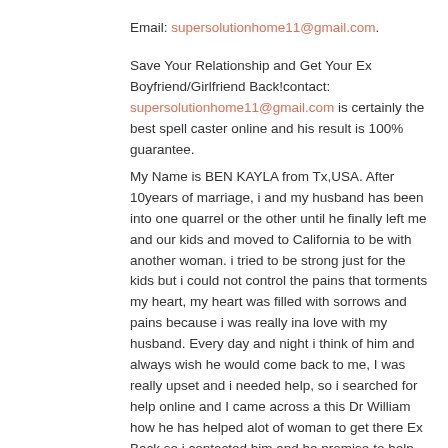Email: supersolutionhome11@gmail.com.
Save Your Relationship and Get Your Ex Boyfriend/Girlfriend Back!contact: supersolutionhome11@gmail.com is certainly the best spell caster online and his result is 100% guarantee.
My Name is BEN KAYLA from Tx,USA. After 10years of marriage, i and my husband has been into one quarrel or the other until he finally left me and our kids and moved to California to be with another woman. i tried to be strong just for the kids but i could not control the pains that torments my heart, my heart was filled with sorrows and pains because i was really ina love with my husband. Every day and night i think of him and always wish he would come back to me, I was really upset and i needed help, so i searched for help online and I came across a this Dr William how he has helped alot of woman to get there Ex Back so i contacted him and he promise to help me, he told me what to do and i did it then he did a Love spell for me. 28 hours later to my